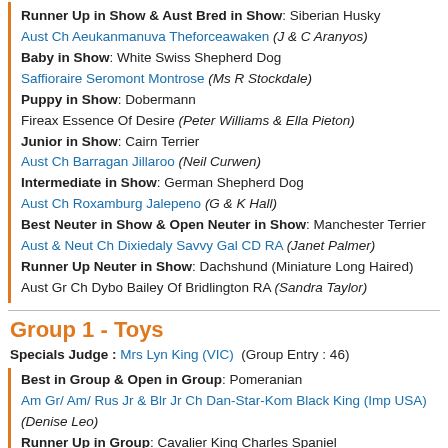Runner Up in Show & Aust Bred in Show: Siberian Husky
Aust Ch Aeukanmanuva Theforceawaken (J & C Aranyos)
Baby in Show: White Swiss Shepherd Dog
Saffioraire Seromont Montrose (Ms R Stockdale)
Puppy in Show: Dobermann
Fireax Essence Of Desire (Peter Williams & Ella Pieton)
Junior in Show: Cairn Terrier
Aust Ch Barragan Jillaroo (Neil Curwen)
Intermediate in Show: German Shepherd Dog
Aust Ch Roxamburg Jalepeno (G & K Hall)
Best Neuter in Show & Open Neuter in Show: Manchester Terrier
Aust & Neut Ch Dixiedaly Savvy Gal CD RA (Janet Palmer)
Runner Up Neuter in Show: Dachshund (Miniature Long Haired)
Aust Gr Ch Dybo Bailey Of Bridlington RA (Sandra Taylor)
Group 1 - Toys
Specials Judge : Mrs Lyn King (VIC)  (Group Entry : 46)
Best in Group & Open in Group: Pomeranian
Am Gr/ Am/ Rus Jr & Blr Jr Ch Dan-Star-Kom Black King (Imp USA) (Denise Leo)
Runner Up in Group: Cavalier King Charles Spaniel
Aust Ch Coloora Ice On Fire (Mrs L Morris)